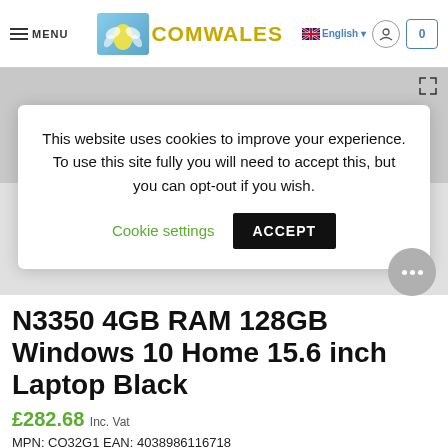MENU | COMWALES | English | 0
[Figure (screenshot): Laptop product images shown in gray strip area]
This website uses cookies to improve your experience. To use this site fully you will need to accept this, but you can opt-out if you wish.
Cookie settings   ACCEPT
N3350 4GB RAM 128GB Windows 10 Home 15.6 inch Laptop Black
£282.68 Inc. Vat
MPN: CO32G1 EAN: 4038986116718